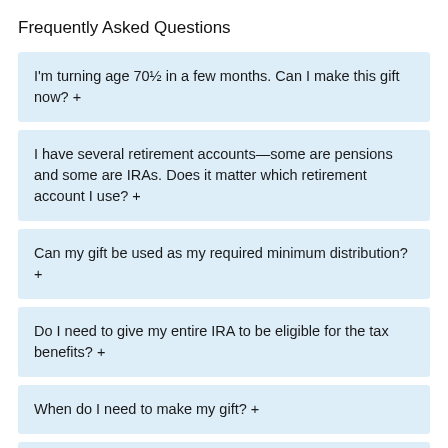Frequently Asked Questions
I'm turning age 70½ in a few months. Can I make this gift now? +
I have several retirement accounts—some are pensions and some are IRAs. Does it matter which retirement account I use? +
Can my gift be used as my required minimum distribution? +
Do I need to give my entire IRA to be eligible for the tax benefits? +
When do I need to make my gift? +
I have two charities I want to support. Can I give $100,000